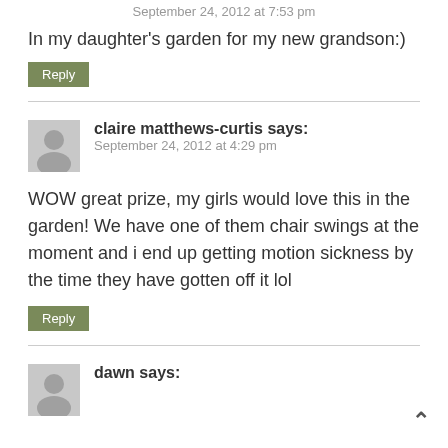September 24, 2012 at 7:53 pm
In my daughter’s garden for my new grandson:)
Reply
claire matthews-curtis says:
September 24, 2012 at 4:29 pm
WOW great prize, my girls would love this in the garden! We have one of them chair swings at the moment and i end up getting motion sickness by the time they have gotten off it lol
Reply
dawn says: